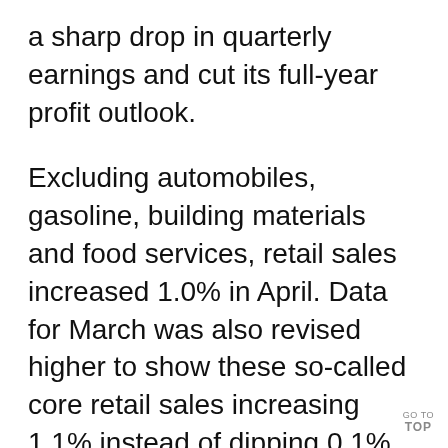a sharp drop in quarterly earnings and cut its full-year profit outlook.
Excluding automobiles, gasoline, building materials and food services, retail sales increased 1.0% in April. Data for March was also revised higher to show these so-called core retail sales increasing 1.1% instead of dipping 0.1% as previously reported.
Core retail sales correspond most closely with the consumer spending component of gross domestic product. Last month's ...d